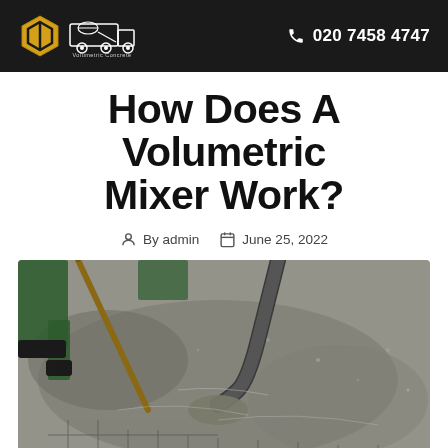Volumetric Concrete | 020 7458 4747
How Does A Volumetric Mixer Work?
By admin | June 25, 2022
[Figure (photo): Worker pouring wet concrete through a hose onto a reinforced steel mesh foundation, with another worker using a tool to spread it. The concrete is grey and freshly poured.]